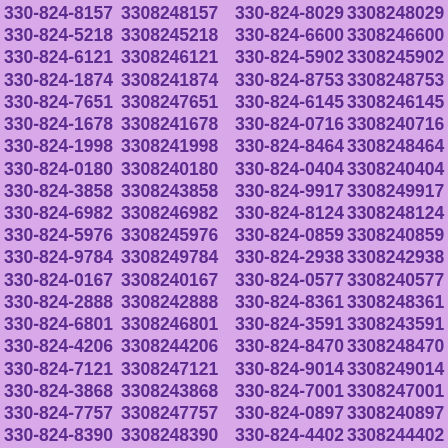| 330-824-8157 | 3308248157 | 330-824-8029 | 3308248029 |
| 330-824-5218 | 3308245218 | 330-824-6600 | 3308246600 |
| 330-824-6121 | 3308246121 | 330-824-5902 | 3308245902 |
| 330-824-1874 | 3308241874 | 330-824-8753 | 3308248753 |
| 330-824-7651 | 3308247651 | 330-824-6145 | 3308246145 |
| 330-824-1678 | 3308241678 | 330-824-0716 | 3308240716 |
| 330-824-1998 | 3308241998 | 330-824-8464 | 3308248464 |
| 330-824-0180 | 3308240180 | 330-824-0404 | 3308240404 |
| 330-824-3858 | 3308243858 | 330-824-9917 | 3308249917 |
| 330-824-6982 | 3308246982 | 330-824-8124 | 3308248124 |
| 330-824-5976 | 3308245976 | 330-824-0859 | 3308240859 |
| 330-824-9784 | 3308249784 | 330-824-2938 | 3308242938 |
| 330-824-0167 | 3308240167 | 330-824-0577 | 3308240577 |
| 330-824-2888 | 3308242888 | 330-824-8361 | 3308248361 |
| 330-824-6801 | 3308246801 | 330-824-3591 | 3308243591 |
| 330-824-4206 | 3308244206 | 330-824-8470 | 3308248470 |
| 330-824-7121 | 3308247121 | 330-824-9014 | 3308249014 |
| 330-824-3868 | 3308243868 | 330-824-7001 | 3308247001 |
| 330-824-7757 | 3308247757 | 330-824-0897 | 3308240897 |
| 330-824-8390 | 3308248390 | 330-824-4402 | 3308244402 |
| 330-824-5576 | 3308245576 | 330-824-5028 | 3308245028 |